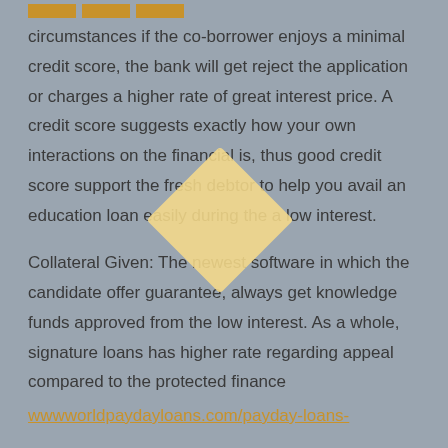circumstances if the co-borrower enjoys a minimal credit score, the bank will get reject the application or charges a higher rate of great interest price. A credit score suggests exactly how your own interactions on the financial is, thus good credit score support the fresh debtor to help you avail an education loan easily during the a low interest.
Collateral Given: The newest software in which the candidate offer guarantee, always get knowledge funds approved from the low interest. As a whole, signature loans has higher rate regarding appeal compared to the protected finance
wwwworldpaydayloans.com/payday-loans-